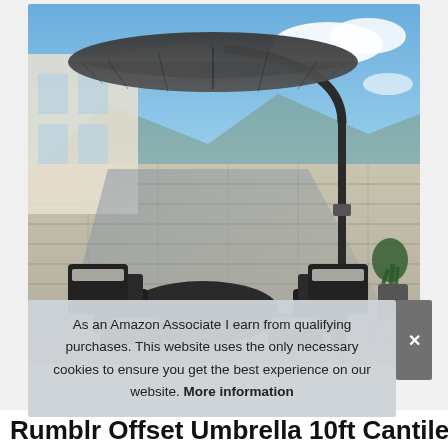[Figure (photo): Product photo of a large dark grey cantilever offset patio umbrella with a curved pole, positioned over an outdoor dining set with wicker chairs on a stone patio with a stone wall background and blue sky with clouds.]
As an Amazon Associate I earn from qualifying purchases. This website uses the only necessary cookies to ensure you get the best experience on our website. More information
Rumblr Offset Umbrella 10ft Cantilever